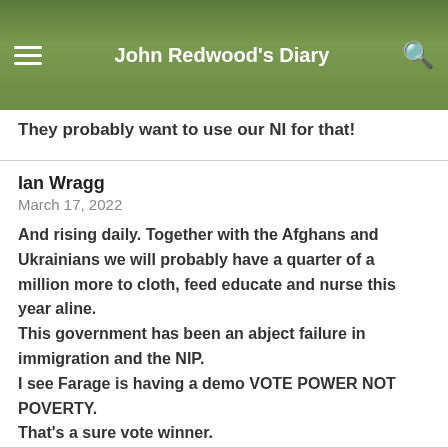John Redwood's Diary
They probably want to use our NI for that!
Ian Wragg
March 17, 2022
And rising daily. Together with the Afghans and Ukrainians we will probably have a quarter of a million more to cloth, feed educate and nurse this year aline.
This government has been an abject failure in immigration and the NIP.
I see Farage is having a demo VOTE POWER NOT POVERTY.
That's a sure vote winner.